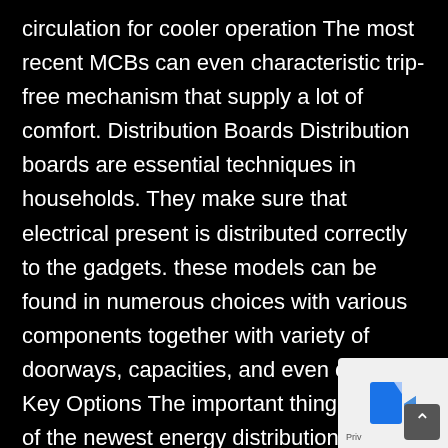circulation for cooler operation The most recent MCBs can even characteristic trip-free mechanism that supply a lot of comfort. Distribution Boards Distribution boards are essential techniques in households. They make sure that electrical present is distributed correctly to the gadgets. these models can be found in numerous choices with various components together with variety of doorways, capacities, and even colours. Key Options The important thing options of the newest energy distribution board are as following: Options three pole and impartial (TPN) Helps a number of methods starting from 6 technique to 16 methods Obtainable in single door or double door design Options magnetic door lock that